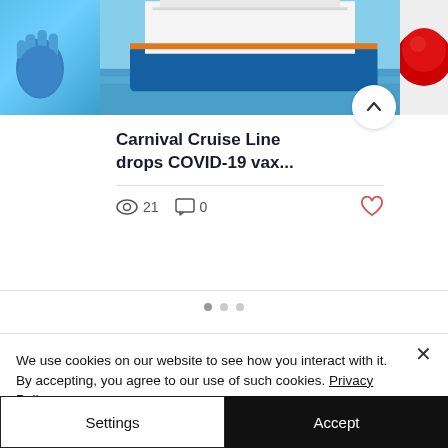[Figure (screenshot): Cruise ship card with photo of large white cruise ship on blue water, flanked by partial images of blue gloved hand on left and red round object on right. Card shows title, view count, comment count, and heart icon.]
Carnival Cruise Line drops COVID-19 vax...
21 views, 0 comments
We use cookies on our website to see how you interact with it. By accepting, you agree to our use of such cookies. Privacy Policy
Settings
Accept